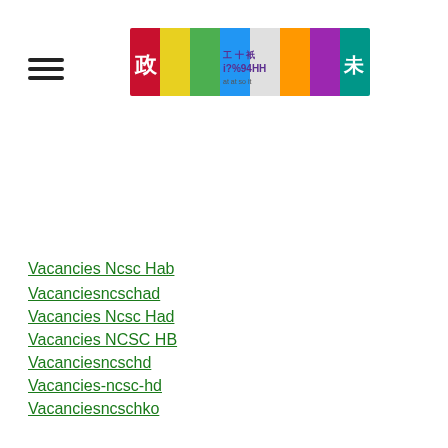[Navigation menu with hamburger icon and banner image]
Vacancies Ncsc Hab
Vacanciesncschad
Vacancies Ncsc Had
Vacancies NCSC HB
Vacanciesncschd
Vacancies-ncsc-hd
Vacanciesncschko
Vacancies Ncsc Hko
Vacanciesncschkpf
Vacancies Ncsc Hkpf
Vacanciesncschkpo
Vacancies Ncsc Hkpo
Vacancies NCSC HYAB
Vacanciesncschyd
Vacancies Ncsc Hyd
Vacanciesncscicac
Vacancies Ncsc Icac
Vacanciesncscimmd
Vacancies Ncsc Immd